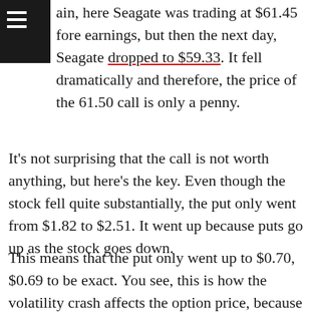ain, here Seagate was trading at $61.45 fore earnings, but then the next day, Seagate dropped to $59.33. It fell dramatically and therefore, the price of the 61.50 call is only a penny.
It's not surprising that the call is not worth anything, but here's the key. Even though the stock fell quite substantially, the put only went from $1.82 to $2.51. It went up because puts go up as the stock goes down.
This means that the put only went up to $0.70, $0.69 to be exact. You see, this is how the volatility crash affects the option price, because even though the put is worth more now and is